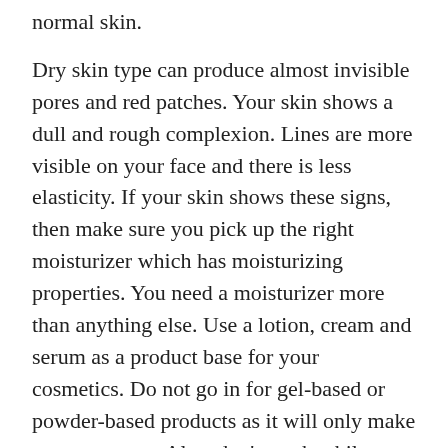normal skin.
Dry skin type can produce almost invisible pores and red patches. Your skin shows a dull and rough complexion. Lines are more visible on your face and there is less elasticity. If your skin shows these signs, then make sure you pick up the right moisturizer which has moisturizing properties. You need a moisturizer more than anything else. Use a lotion, cream and serum as a product base for your cosmetics. Do not go in for gel-based or powder-based products as it will only make matters worse. Also, don't scrub while bathing or drying. Use mild, gentle soaps or cleansers. Avoid deodorant soaps. Use a humidifier and don't let indoor temperatures get too hot.
If you have an oily skin type, your pores will be enlarged. Your skin will either show a dull or shiny, thick complexion. Signs of lackheads, pimples, or other blemishes will be visible. A good thing, though, is that oily skin is not prone much to aging and wrinkling.